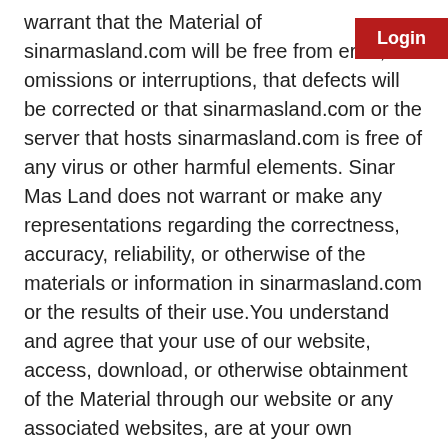warrant that the Material of sinarmasland.com will be free from error, omissions or interruptions, that defects will be corrected or that sinarmasland.com or the server that hosts sinarmasland.com is free of any virus or other harmful elements. Sinar Mas Land does not warrant or make any representations regarding the correctness, accuracy, reliability, or otherwise of the materials or information in sinarmasland.com or the results of their use.You understand and agree that your use of our website, access, download, or otherwise obtainment of the Material through our website or any associated websites, are at your own discretion and risk and that you are solely responsible for any damage that may occur to your property (including your computer system or mobile device used in connection with the website), or the loss of data that results from the use of the website or the download or use of Material.3.4 Some samples of PT
[Figure (other): Red Login button in top right corner]